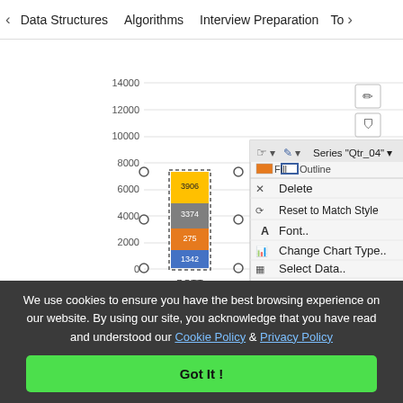< Data Structures   Algorithms   Interview Preparation   To>
[Figure (screenshot): Screenshot of a stacked bar chart in a spreadsheet application with a right-click context menu open showing options: Delete, Reset to Match Style, Font.., Change Chart Type.., Select Data.., 3-D Rotation.., Format Data Series.., Change Data Label Shapes >, Format Data Labels.. (highlighted). The chart shows stacked bars for customers BOTT, FOLKO, and GREAL with quarterly data labels. A legend shows Qtr_04.]
We use cookies to ensure you have the best browsing experience on our website. By using our site, you acknowledge that you have read and understood our Cookie Policy & Privacy Policy
Got It !